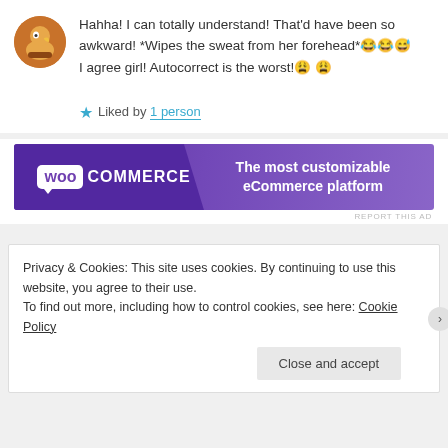Hahha! I can totally understand! That'd have been so awkward! *Wipes the sweat from her forehead* 😂😂😅
I agree girl! Autocorrect is the worst! 😩😩
★ Liked by 1 person
[Figure (logo): WooCommerce advertisement banner: purple background with WooCommerce logo on left and tagline 'The most customizable eCommerce platform' on right]
REPORT THIS AD
Privacy & Cookies: This site uses cookies. By continuing to use this website, you agree to their use.
To find out more, including how to control cookies, see here: Cookie Policy
Close and accept